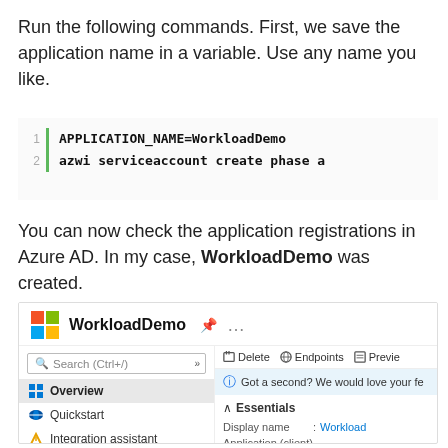Run the following commands. First, we save the application name in a variable. Use any name you like.
[Figure (screenshot): Code block showing two lines: line 1: APPLICATION_NAME=WorkloadDemo, line 2: azwi serviceaccount create phase a]
You can now check the application registrations in Azure AD. In my case, WorkloadDemo was created.
[Figure (screenshot): Azure AD portal screenshot showing WorkloadDemo application registration with sidebar navigation (Overview, Quickstart, Integration assistant, Manage, Branding & properties) and right panel showing Delete, Endpoints, Preview toolbar buttons, info bar 'Got a second? We would love your fe', Essentials section with Display name: Workload, Application (client) ID: 87744b0e, Object ID: 3-53F5-...]